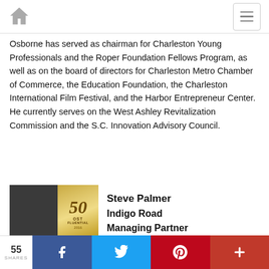Navigation bar with home icon and menu button
Osborne has served as chairman for Charleston Young Professionals and the Roper Foundation Fellows Program, as well as on the board of directors for Charleston Metro Chamber of Commerce, the Education Foundation, the Charleston International Film Festival, and the Harbor Entrepreneur Center. He currently serves on the West Ashley Revitalization Commission and the S.C. Innovation Advisory Council.
[Figure (photo): Headshot photo of Steve Palmer with a '50 Most Influential' badge overlay]
Steve Palmer
Indigo Road
Managing Partner
55 SHARES — share buttons for Facebook, Twitter, Pinterest, and more